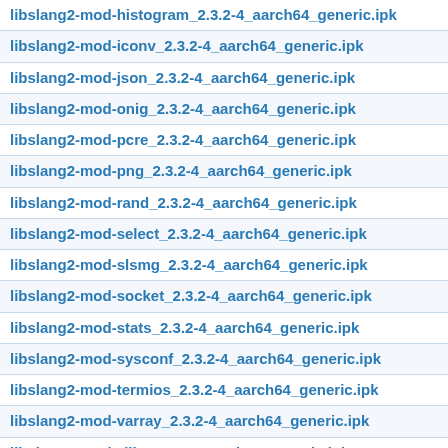libslang2-mod-histogram_2.3.2-4_aarch64_generic.ipk
libslang2-mod-iconv_2.3.2-4_aarch64_generic.ipk
libslang2-mod-json_2.3.2-4_aarch64_generic.ipk
libslang2-mod-onig_2.3.2-4_aarch64_generic.ipk
libslang2-mod-pcre_2.3.2-4_aarch64_generic.ipk
libslang2-mod-png_2.3.2-4_aarch64_generic.ipk
libslang2-mod-rand_2.3.2-4_aarch64_generic.ipk
libslang2-mod-select_2.3.2-4_aarch64_generic.ipk
libslang2-mod-slsmg_2.3.2-4_aarch64_generic.ipk
libslang2-mod-socket_2.3.2-4_aarch64_generic.ipk
libslang2-mod-stats_2.3.2-4_aarch64_generic.ipk
libslang2-mod-sysconf_2.3.2-4_aarch64_generic.ipk
libslang2-mod-termios_2.3.2-4_aarch64_generic.ipk
libslang2-mod-varray_2.3.2-4_aarch64_generic.ipk
libslang2-mod-zlib_2.3.2-4_aarch64_generic.ipk
libslang2-modules_2.3.2-4_aarch64_generic.ipk
libslang2_2.3.2-4_aarch64_generic.ipk
libsndfile_2019-04-21-25824cb9-1_aarch64_generic.ipk
libsoc_2016-12-22-5b788d4d-2_aarch64_generic.ipk
libsodium_1.0.18-1_aarch64_generic.ipk